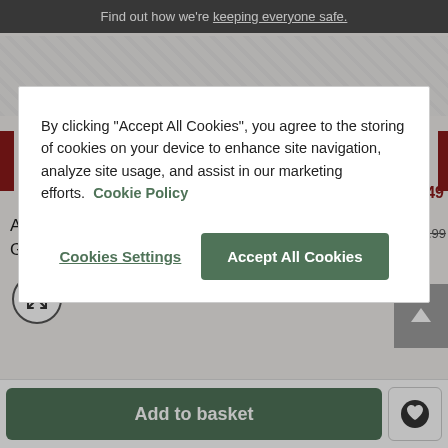Find out how we're keeping everyone safe.
By clicking “Accept All Cookies”, you agree to the storing of cookies on your device to enhance site navigation, analyze site usage, and assist in our marketing efforts. Cookie Policy
Cookies Settings
Accept All Cookies
Accent Chair | Pebble & Silver Gingham
SAVE £80
£949.99
Add to basket